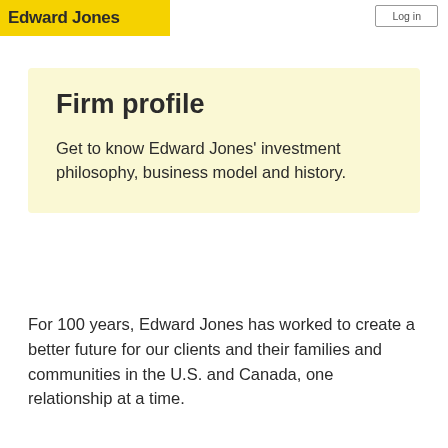Edward Jones
Firm profile
Get to know Edward Jones' investment philosophy, business model and history.
For 100 years, Edward Jones has worked to create a better future for our clients and their families and communities in the U.S. and Canada, one relationship at a time.